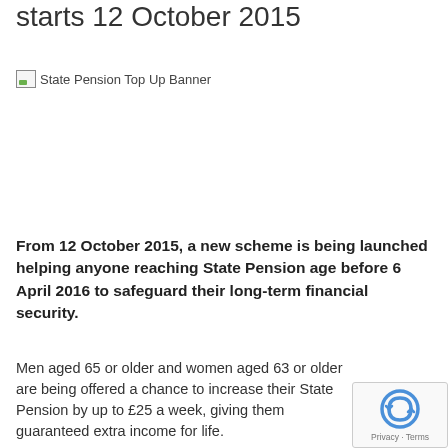starts 12 October 2015
[Figure (illustration): State Pension Top Up Banner image (broken/unloaded)]
From 12 October 2015, a new scheme is being launched helping anyone reaching State Pension age before 6 April 2016 to safeguard their long-term financial security.
Men aged 65 or older and women aged 63 or older are being offered a chance to increase their State Pension by up to £25 a week, giving them guaranteed extra income for life.